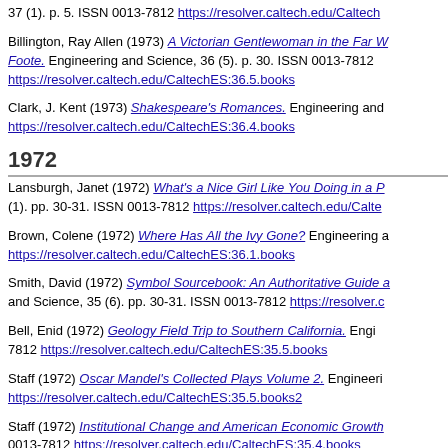37 (1). p. 5. ISSN 0013-7812 https://resolver.caltech.edu/CaltechES:...
Billington, Ray Allen (1973) A Victorian Gentlewoman in the Far W... Foote. Engineering and Science, 36 (5). p. 30. ISSN 0013-7812 https://resolver.caltech.edu/CaltechES:36.5.books
Clark, J. Kent (1973) Shakespeare's Romances. Engineering and... https://resolver.caltech.edu/CaltechES:36.4.books
1972
Lansburgh, Janet (1972) What's a Nice Girl Like You Doing in a P... (1). pp. 30-31. ISSN 0013-7812 https://resolver.caltech.edu/Calte...
Brown, Colene (1972) Where Has All the Ivy Gone? Engineering a... https://resolver.caltech.edu/CaltechES:36.1.books
Smith, David (1972) Symbol Sourcebook: An Authoritative Guide a... and Science, 35 (6). pp. 30-31. ISSN 0013-7812 https://resolver.c...
Bell, Enid (1972) Geology Field Trip to Southern California. Engi... 7812 https://resolver.caltech.edu/CaltechES:35.5.books
Staff (1972) Oscar Mandel's Collected Plays Volume 2. Engineeri... https://resolver.caltech.edu/CaltechES:35.5.books2
Staff (1972) Institutional Change and American Economic Growth... 0013-7812 https://resolver.caltech.edu/CaltechES:35.4.books